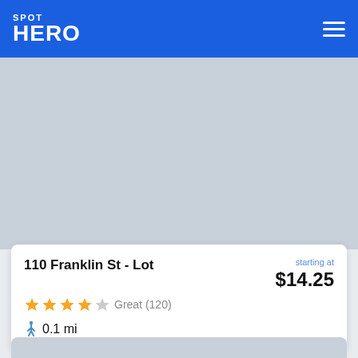SPOT HERO
[Figure (photo): Gray placeholder image for parking lot photo]
110 Franklin St - Lot
starting at $14.25
Great (120)
0.1 mi
[Figure (photo): Gray placeholder image for second parking listing]